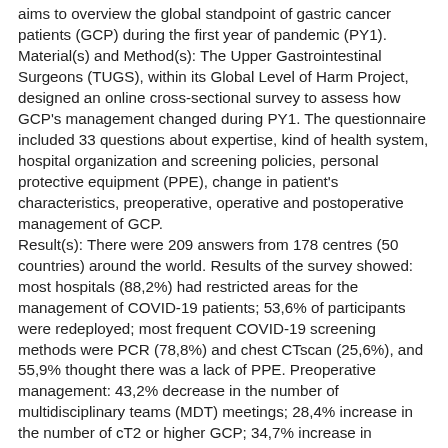aims to overview the global standpoint of gastric cancer patients (GCP) during the first year of pandemic (PY1). Material(s) and Method(s): The Upper Gastrointestinal Surgeons (TUGS), within its Global Level of Harm Project, designed an online cross-sectional survey to assess how GCP's management changed during PY1. The questionnaire included 33 questions about expertise, kind of health system, hospital organization and screening policies, personal protective equipment (PPE), change in patient's characteristics, preoperative, operative and postoperative management of GCP. Result(s): There were 209 answers from 178 centres (50 countries) around the world. Results of the survey showed: most hospitals (88,2%) had restricted areas for the management of COVID-19 patients; 53,6% of participants were redeployed; most frequent COVID-19 screening methods were PCR (78,8%) and chest CTscan (25,6%), and 55,9% thought there was a lack of PPE. Preoperative management: 43,2% decrease in the number of multidisciplinary teams (MDT) meetings; 28,4% increase in the number of cT2 or higher GCP; 34,7% increase in metastatic (M1) GCP; 26,8% increase in GCP receiving definitive palliative treatment; 23,7% increase in the number of frail patients; 50% increase